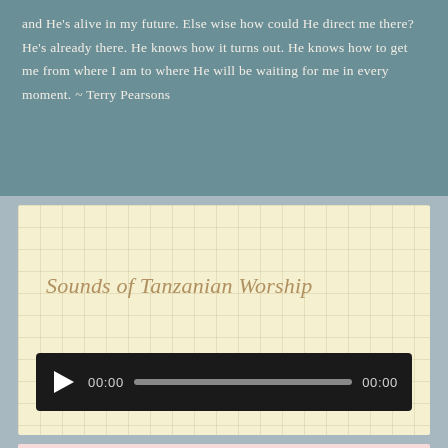and He's alive in my future. Else wise how could He direct me there? He's already there. He knows how it turns out. He knows how to get me from where I am to where He will be waiting for me in every moment. ~ Terry Pearsons
Sounds of Tanzanian Worship
[Figure (other): Audio player with play button, 00:00 start time, progress bar, and 00:00 end time on dark background]
Social